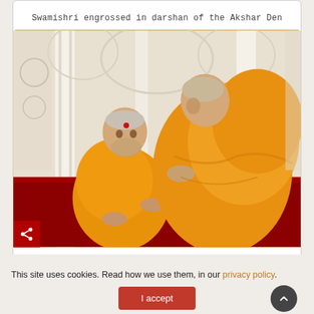Swamishri engrossed in darshan of the Akshar Den
[Figure (photo): Two Hindu monks in saffron/orange robes seated inside an ornate white marble temple. The monk on the left (Swamishri) has a red tilak on his forehead and is gesturing with his hands. The monk on the right (Pujya Ishwarcharan Swami) leans toward him attentively. The background shows decorated white marble pillars.]
Swamishri in conversation with Pujya Ishwarcharan Swami
This site uses cookies. Read how we use them, in our privacy policy.
I accept